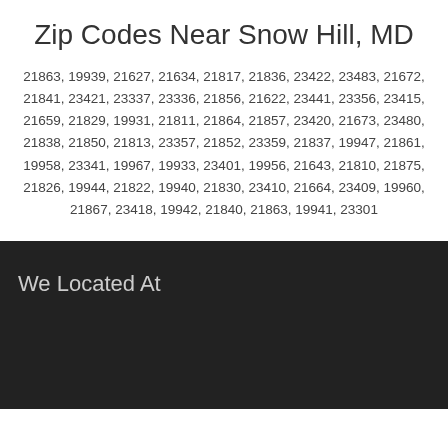Zip Codes Near Snow Hill, MD
21863, 19939, 21627, 21634, 21817, 21836, 23422, 23483, 21672, 21841, 23421, 23337, 23336, 21856, 21622, 23441, 23356, 23415, 21659, 21829, 19931, 21811, 21864, 21857, 23420, 21673, 23480, 21838, 21850, 21813, 23357, 21852, 23359, 21837, 19947, 21861, 19958, 23341, 19967, 19933, 23401, 19956, 21643, 21810, 21875, 21826, 19944, 21822, 19940, 21830, 23410, 21664, 23409, 19960, 21867, 23418, 19942, 21840, 21863, 19941, 23301
We Located At